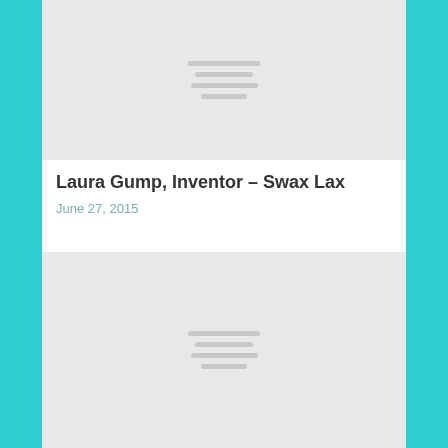[Figure (other): Gray placeholder image block at top of article listing]
Laura Gump, Inventor – Swax Lax
June 27, 2015
[Figure (other): Gray placeholder image block for second article listing]